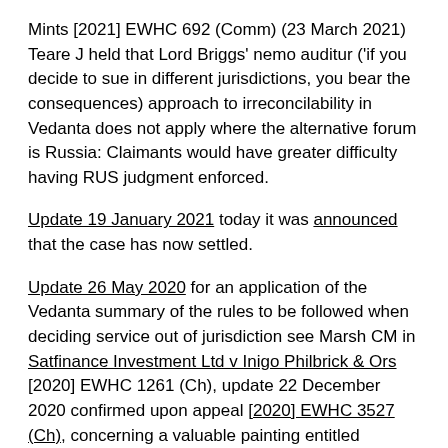Mints [2021] EWHC 692 (Comm) (23 March 2021) Teare J held that Lord Briggs' nemo auditur ('if you decide to sue in different jurisdictions, you bear the consequences) approach to irreconcilability in Vedanta does not apply where the alternative forum is Russia: Claimants would have greater difficulty having RUS judgment enforced.
Update 19 January 2021 today it was announced that the case has now settled.
Update 26 May 2020 for an application of the Vedanta summary of the rules to be followed when deciding service out of jurisdiction see Marsh CM in Satfinance Investment Ltd v Inigo Philbrick & Ors [2020] EWHC 1261 (Ch), update 22 December 2020 confirmed upon appeal [2020] EWHC 3527 (Ch), concerning a valuable painting entitled 'Humidity' by the New York artist Jean-Michel Basquiat. (Note at 9 the 'art and the law' issue of